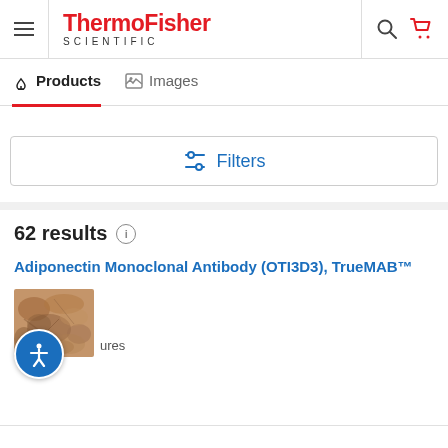[Figure (logo): ThermoFisher Scientific logo in red with search and cart icons in header]
Products | Images
[Figure (infographic): Filters button with sliders icon in blue]
62 results
Adiponectin Monoclonal Antibody (OTI3D3), TrueMAB™
[Figure (photo): Tissue/immunohistochemistry image showing brown staining on tissue section]
figures